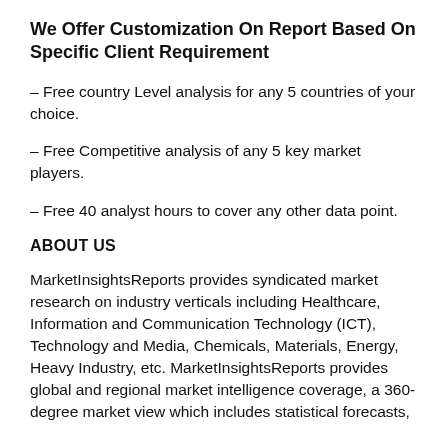We Offer Customization On Report Based On Specific Client Requirement
– Free country Level analysis for any 5 countries of your choice.
– Free Competitive analysis of any 5 key market players.
– Free 40 analyst hours to cover any other data point.
ABOUT US
MarketInsightsReports provides syndicated market research on industry verticals including Healthcare, Information and Communication Technology (ICT), Technology and Media, Chemicals, Materials, Energy, Heavy Industry, etc. MarketInsightsReports provides global and regional market intelligence coverage, a 360-degree market view which includes statistical forecasts,